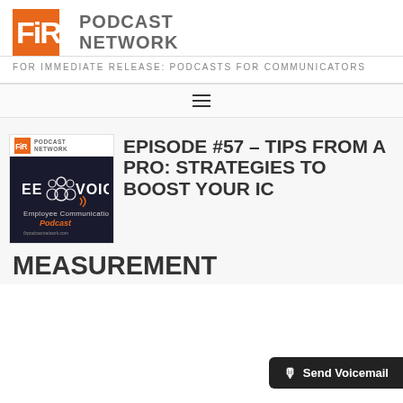[Figure (logo): FiR Podcast Network logo with orange square containing FiR lettering and gray PODCAST NETWORK text]
FOR IMMEDIATE RELEASE: PODCASTS FOR COMMUNICATORS
[Figure (other): Hamburger menu icon (three horizontal lines)]
[Figure (illustration): EE Voice Employee Communication Podcast thumbnail card with FiR Podcast Network branding, dark background with people icons]
EPISODE #57 – TIPS FROM A PRO: STRATEGIES TO BOOST YOUR IC MEASUREMENT